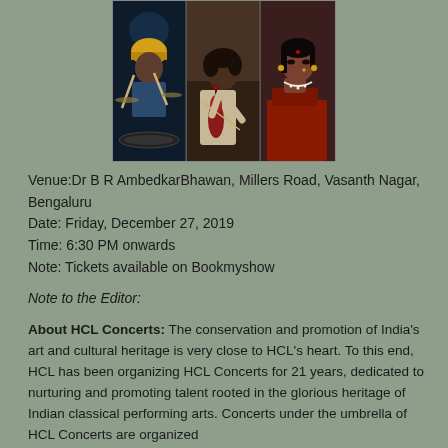[Figure (photo): Three photos side by side: left shows a drummer with yellow cap holding drumsticks against dark background; center shows a violinist (man) playing a red violin; right shows a woman in red saree with jewelry against dark background.]
Venue:Dr B R AmbedkarBhawan, Millers Road, Vasanth Nagar, Bengaluru
Date: Friday, December 27, 2019
Time: 6:30 PM onwards
Note: Tickets available on Bookmyshow
Note to the Editor:
About HCL Concerts: The conservation and promotion of India's art and cultural heritage is very close to HCL's heart. To this end, HCL has been organizing HCL Concerts for 21 years, dedicated to nurturing and promoting talent rooted in the glorious heritage of Indian classical performing arts. Concerts under the umbrella of HCL Concerts are organized